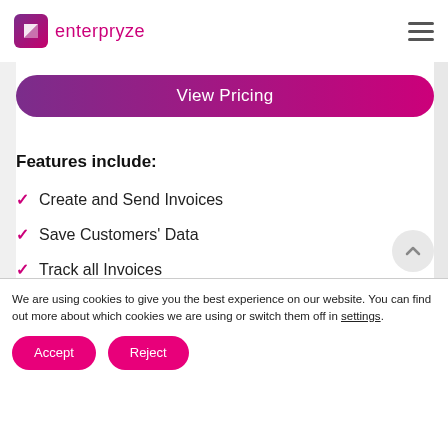enterpryze
View Pricing
Features include:
Create and Send Invoices
Save Customers' Data
Track all Invoices
We are using cookies to give you the best experience on our website. You can find out more about which cookies we are using or switch them off in settings.
Accept
Reject